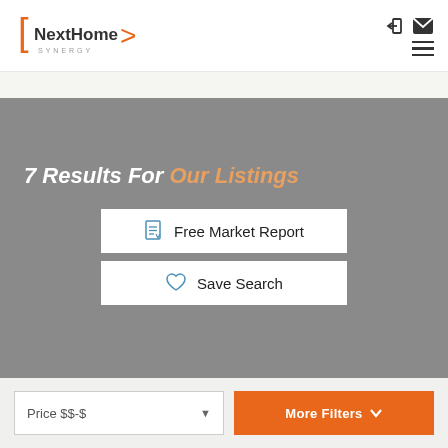[Figure (logo): NextHome Synergy logo with orange bracket marks and arrow]
[Figure (infographic): Login and email icons in top right header area; hamburger menu icon]
7 Results For Our Listings
Free Market Report
Save Search
Price $$-$
More Filters